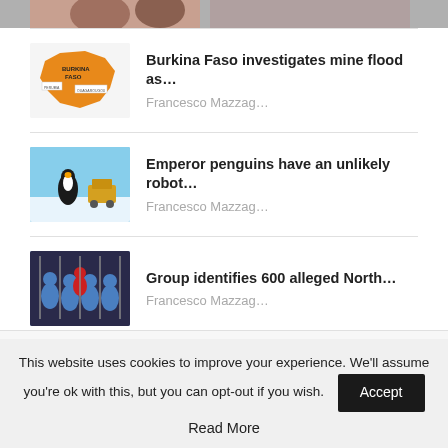[Figure (photo): Partial image strip at top of page, cropped]
Burkina Faso investigates mine flood as... Francesco Mazzag...
Emperor penguins have an unlikely robot... Francesco Mazzag...
Group identifies 600 alleged North... Francesco Mazzag...
Subscribe to our newsletter
This website uses cookies to improve your experience. We'll assume you're ok with this, but you can opt-out if you wish. Accept Read More